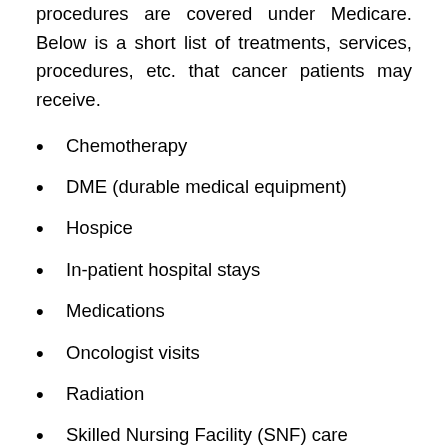procedures are covered under Medicare. Below is a short list of treatments, services, procedures, etc. that cancer patients may receive.
Chemotherapy
DME (durable medical equipment)
Hospice
In-patient hospital stays
Medications
Oncologist visits
Radiation
Skilled Nursing Facility (SNF) care
Surgery